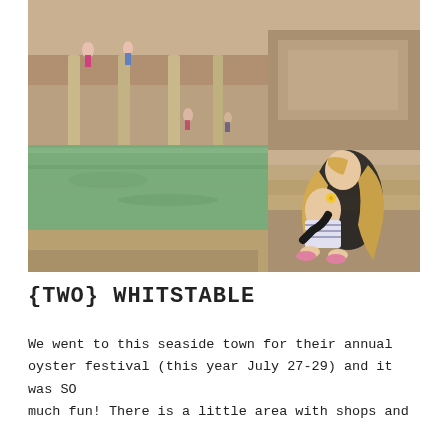[Figure (photo): A woman with long blonde hair and a young girl with a yellow flower in her hair sit together on stone steps beside a large green-water pool at what appears to be the Roman Baths in Bath, UK. Ancient stone columns and architecture are visible in the background with other visitors on an upper gallery level.]
{TWO} WHITSTABLE
We went to this seaside town for their annual oyster festival (this year July 27-29) and it was SO much fun! There is a little area with shops and